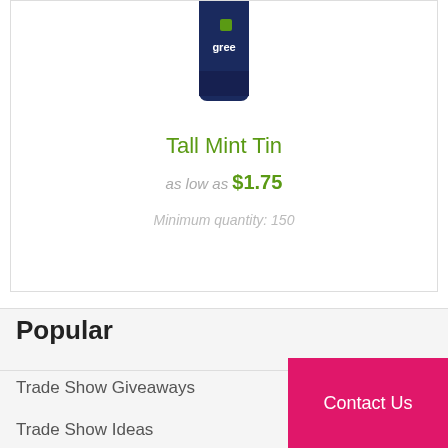[Figure (photo): Product image of a tall dark blue mint tin with green logo text reading 'agree' on it]
Tall Mint Tin
as low as $1.75
Minimum quantity: 150
Popular
Trade Show Giveaways
Trade Show Ideas
Contact Us